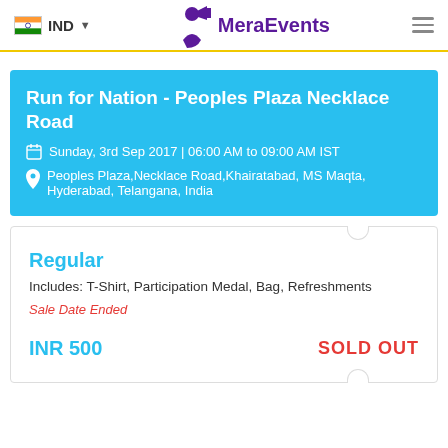IND  MeraEvents
Run for Nation - Peoples Plaza Necklace Road
Sunday, 3rd Sep 2017 | 06:00 AM to 09:00 AM IST
Peoples Plaza,Necklace Road,Khairatabad, MS Maqta, Hyderabad, Telangana, India
Regular
Includes: T-Shirt, Participation Medal, Bag, Refreshments
Sale Date Ended
INR 500
SOLD OUT